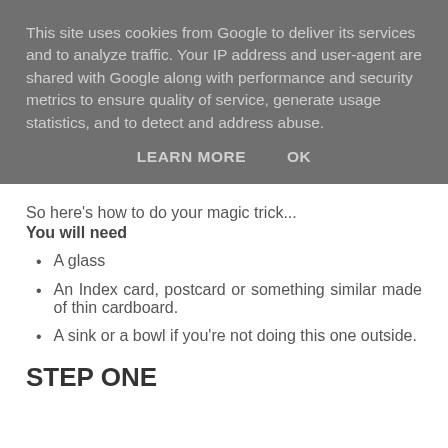This site uses cookies from Google to deliver its services and to analyze traffic. Your IP address and user-agent are shared with Google along with performance and security metrics to ensure quality of service, generate usage statistics, and to detect and address abuse.
LEARN MORE    OK
So here's how to do your magic trick...
You will need
A glass
An Index card, postcard or something similar made of thin cardboard.
A sink or a bowl if you're not doing this one outside.
STEP ONE